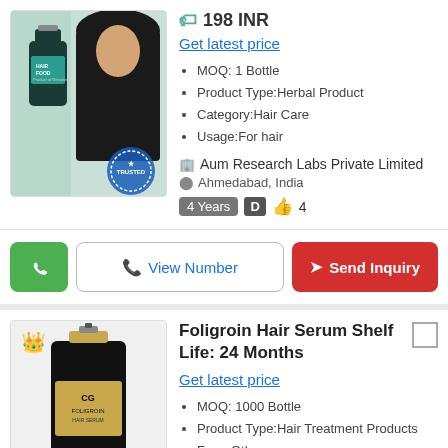[Figure (photo): Hair food product image with woman with long dark hair and a 'Trusted' stamp badge]
198 INR
Get latest price
MOQ: 1 Bottle
Product Type:Herbal Product
Category:Hair Care
Usage:For hair
Aum Research Labs Private Limited
Ahmedabad, India
4 Years  D  👍 4
WhatsApp | View Number | Send Inquiry
[Figure (photo): Foligroin Hair Serum black product bottle with gold label and crown icon, 'Trusted' stamp badge]
Foligroin Hair Serum Shelf Life: 24 Months
Get latest price
MOQ: 1000 Bottle
Product Type:Hair Treatment Products
Form:Other
Function:Boast Hair Growth, Straighten Hair, Smoothen Slap, Rejuvenate Hair Shine, Reduce Hair Fall
Truworth Healthcare